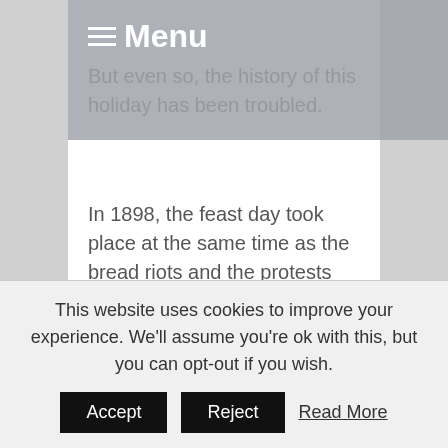Menu
But even so, the history of this holiday has been troubled.
In 1898, the feast day took place at the same time as the bread riots and the protests against entering the First World War. During the Fascist regime it was brought forward to join Christmas in Rome on 21 April.
In 1945 the celebration returned to the first of May, the climate of the Liberation turning
This website uses cookies to improve your experience. We'll assume you're ok with this, but you can opt-out if you wish.